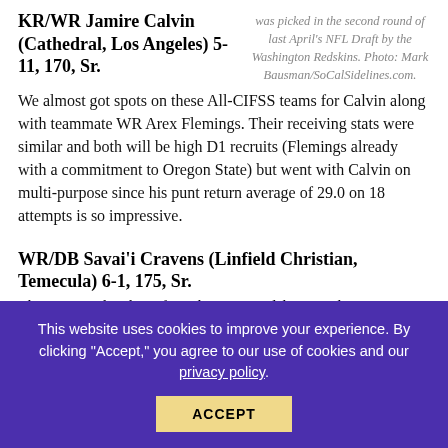KR/WR Jamire Calvin (Cathedral, Los Angeles) 5-11, 170, Sr.
was picked in the second round of last April's NFL Draft by the Washington Redskins. Photo: Mark Bausman/SoCalSidelines.com.
We almost got spots on these All-CIFSS teams for Calvin along with teammate WR Arex Flemings. Their receiving stats were similar and both will be high D1 recruits (Flemings already with a commitment to Oregon State) but went with Calvin on multi-purpose since his punt return average of 29.0 on 18 attempts is so impressive.
WR/DB Savai'i Cravens (Linfield Christian, Temecula) 6-1, 175, Sr.
The younger brother of Washington Redskins' rookie LB Su'a Cravens, Savai'i helped the Saddleback Valley Christian (his
This website uses cookies to improve your experience. By clicking "Accept," you agree to our use of cookies and our privacy policy.